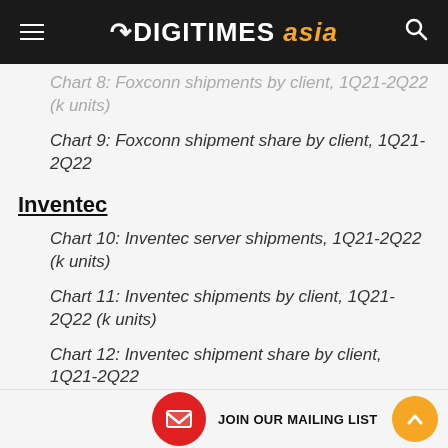DIGITIMES asia
Chart 8: Foxconn shipments by client, 1Q21-2Q22 (k units)
Chart 9: Foxconn shipment share by client, 1Q21-2Q22
Inventec
Chart 10: Inventec server shipments, 1Q21-2Q22 (k units)
Chart 11: Inventec shipments by client, 1Q21-2Q22 (k units)
Chart 12: Inventec shipment share by client, 1Q21-2Q22
Quanta
Chart 13: Qu...